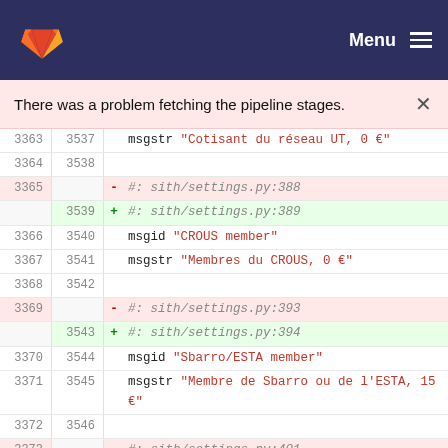GitLab — Menu
There was a problem fetching the pipeline stages.
[Figure (screenshot): Code diff view showing localization file changes: line numbers on left, diff markers (+/-), and code content with string literals in red. Lines 3363-3375 (old) and 3537-3549 (new) are shown, including msgid/msgstr entries for CROUS member, Sbarro/ESTA member, and President translations with updated settings.py reference line numbers.]